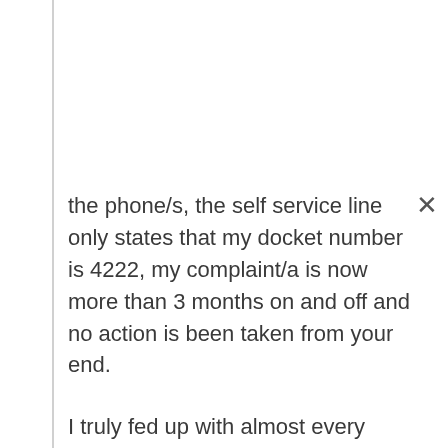the phone/s, the self service line only states that my docket number is 4222, my complaint/a is now more than 3 months on and off and no action is been taken from your end.

I truly fed up with almost every alternate day follow-up, no one is bothered to even get in touch with us. what kind of service is this? Nothing short of disgusting, every time i call customer care, they ask me to call Mr. Prfulchandra, area manger, for this